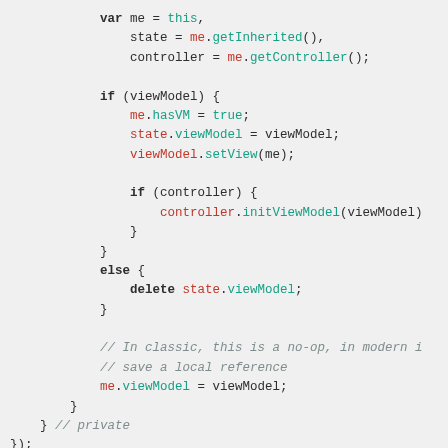var me = this,
    state = me.getInherited(),
    controller = me.getController();

    if (viewModel) {
        me.hasVM = true;
        state.viewModel = viewModel;
        viewModel.setView(me);

        if (controller) {
            controller.initViewModel(viewModel)
        }
    }
    else {
        delete state.viewModel;
    }

    // In classic, this is a no-op, in modern i
    // save a local reference
    me.viewModel = viewModel;
}
} // private
});